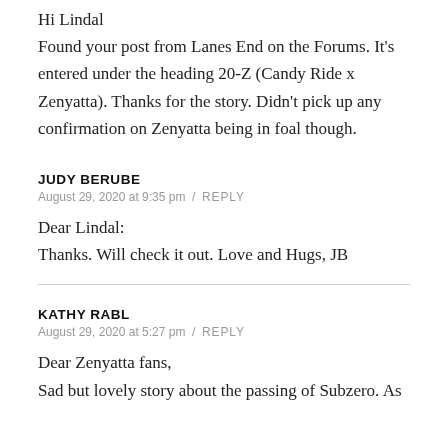Hi Lindal
Found your post from Lanes End on the Forums. It's entered under the heading 20-Z (Candy Ride x Zenyatta). Thanks for the story. Didn't pick up any confirmation on Zenyatta being in foal though.
JUDY BERUBE
August 29, 2020 at 9:35 pm / REPLY
Dear Lindal:
Thanks. Will check it out. Love and Hugs, JB
KATHY RABL
August 29, 2020 at 5:27 pm / REPLY
Dear Zenyatta fans,
Sad but lovely story about the passing of Subzero. As